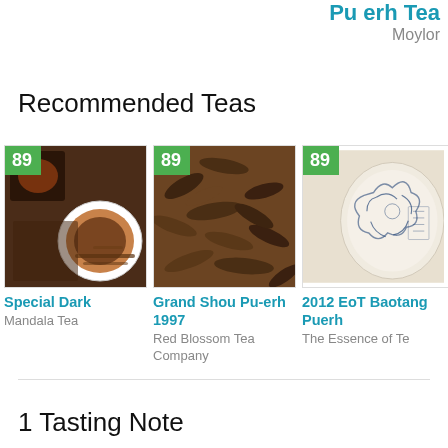Pu erh Tea
Moylor
Recommended Teas
[Figure (photo): Score badge 89 over photo of dark pu-erh tea in white cups. Special Dark by Mandala Tea.]
Special Dark
Mandala Tea
[Figure (photo): Score badge 89 over photo of loose dried pu-erh tea leaves. Grand Shou Pu-erh 1997 by Red Blossom Tea Company.]
Grand Shou Pu-erh 1997
Red Blossom Tea Company
[Figure (photo): Score badge 89 over photo of a round pu-erh tea cake with Chinese calligraphy decoration. 2012 EoT Baotang Puerh by The Essence of Tea.]
2012 EoT Baotang Puerh
The Essence of Tea
1 Tasting Note